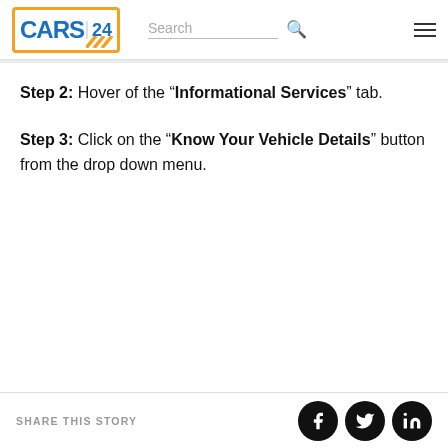CARS24 — Search bar and navigation menu
Step 2: Hover of the "Informational Services" tab.
Step 3: Click on the "Know Your Vehicle Details" button from the drop down menu.
SHARE THIS STORY — Facebook, Twitter, LinkedIn